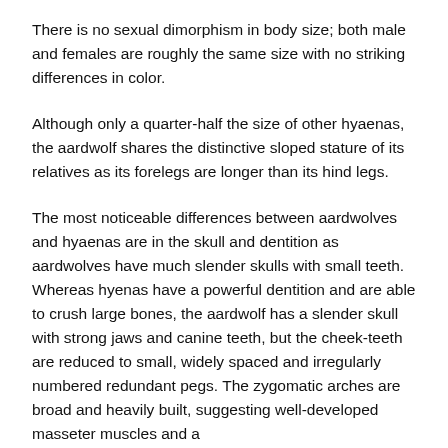There is no sexual dimorphism in body size; both male and females are roughly the same size with no striking differences in color.
Although only a quarter-half the size of other hyaenas, the aardwolf shares the distinctive sloped stature of its relatives as its forelegs are longer than its hind legs.
The most noticeable differences between aardwolves and hyaenas are in the skull and dentition as aardwolves have much slender skulls with small teeth. Whereas hyenas have a powerful dentition and are able to crush large bones, the aardwolf has a slender skull with strong jaws and canine teeth, but the cheek-teeth are reduced to small, widely spaced and irregularly numbered redundant pegs. The zygomatic arches are broad and heavily built, suggesting well-developed masseter muscles and a